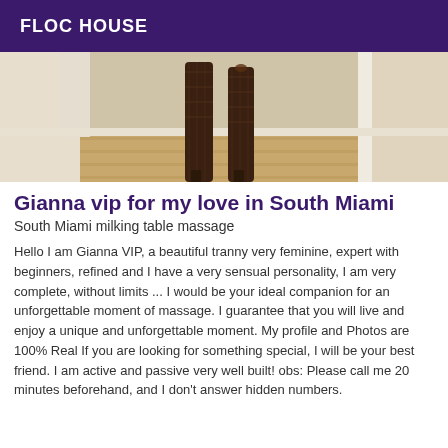FLOC HOUSE
[Figure (photo): Partial view of a person's legs wearing fishnet stockings and high-heeled boots, standing on a wooden floor near a white door frame]
Gianna vip for my love in South Miami
South Miami milking table massage
Hello I am Gianna VIP, a beautiful tranny very feminine, expert with beginners, refined and I have a very sensual personality, I am very complete, without limits ... I would be your ideal companion for an unforgettable moment of massage. I guarantee that you will live and enjoy a unique and unforgettable moment. My profile and Photos are 100% Real If you are looking for something special, I will be your best friend. I am active and passive very well built! obs: Please call me 20 minutes beforehand, and I don't answer hidden numbers.